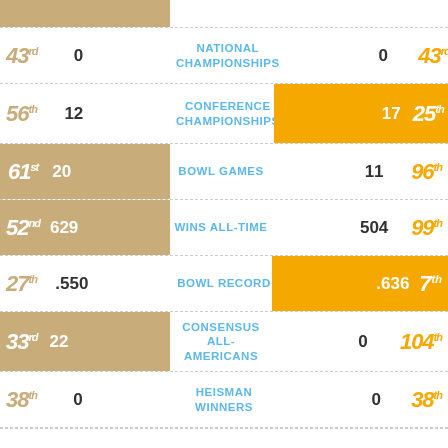| Rank (Left) | Value (Left) | Category | Value (Right) | Rank (Right) |
| --- | --- | --- | --- | --- |
| 43rd | 0 | NATIONAL CHAMPIONSHIPS | 0 | 43rd |
| 56th | 12 | CONFERENCE CHAMPIONSHIPS | 17 | 25th |
| 61st | 20 | BOWL GAMES | 11 | 96th |
| 52nd | 629 | WINS ALL-TIME | 504 | 99th |
| 27th | .550 | BOWL RECORD | .636 | 7th |
| 33rd | 22 | CONSENSUS ALL-AMERICANS | 0 | 104th |
| 38th | 0 | HEISMAN WINNERS | 0 | 38th |